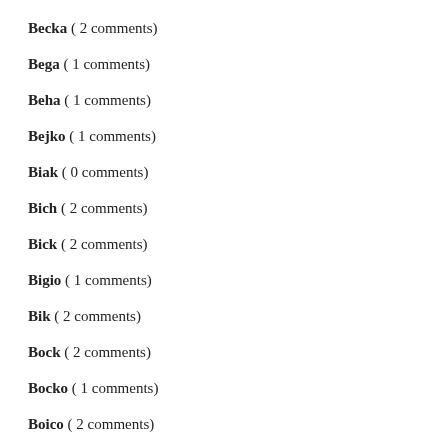Becka ( 2 comments)
Bega ( 1 comments)
Beha ( 1 comments)
Bejko ( 1 comments)
Biak ( 0 comments)
Bich ( 2 comments)
Bick ( 2 comments)
Bigio ( 1 comments)
Bik ( 2 comments)
Bock ( 2 comments)
Bocko ( 1 comments)
Boico ( 2 comments)